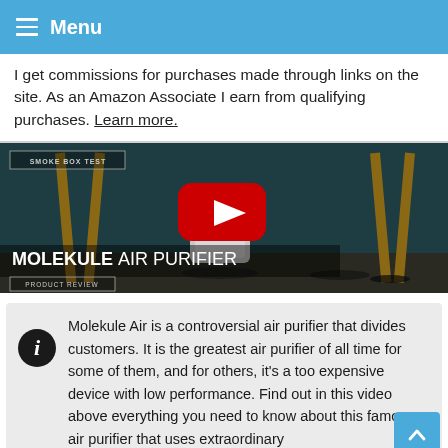Menu
I get commissions for purchases made through links on the site. As an Amazon Associate I earn from qualifying purchases. Learn more.
[Figure (screenshot): YouTube video thumbnail showing Molekule Air Purifier review with smoke box test label, play button, and room background. Title overlay reads 'MOLEKULE AIR PURIFIER' with 'PRODUCT REVIEW' label.]
Molekule Air is a controversial air purifier that divides customers. It is the greatest air purifier of all time for some of them, and for others, it's a too expensive device with low performance. Find out in this video above everything you need to know about this famous air purifier that uses extraordinary